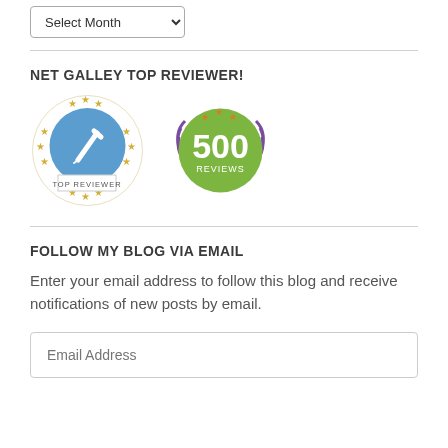NET GALLEY TOP REVIEWER!
[Figure (logo): NetGalley Top Reviewer badge: blue circle with white pencil/edit icon and gold stars around it, labeled TOP REVIEWER at the bottom]
[Figure (logo): 500 Reviews badge: green circle with '500 REVIEWS' text in white, surrounded by purple laurel wreath and orange stars]
FOLLOW MY BLOG VIA EMAIL
Enter your email address to follow this blog and receive notifications of new posts by email.
Email Address